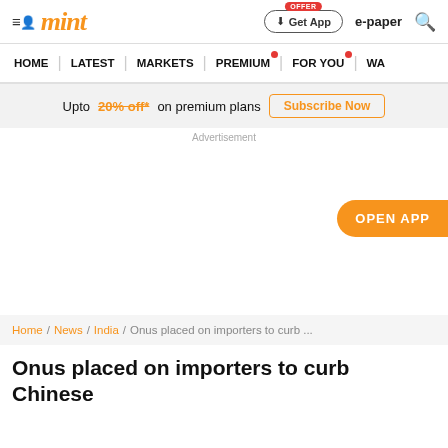mint
HOME | LATEST | MARKETS | PREMIUM | FOR YOU | WA...
Upto 20% off* on premium plans  Subscribe Now
Advertisement
OPEN APP
Home / News / India / Onus placed on importers to curb ...
Onus placed on importers to curb Chinese